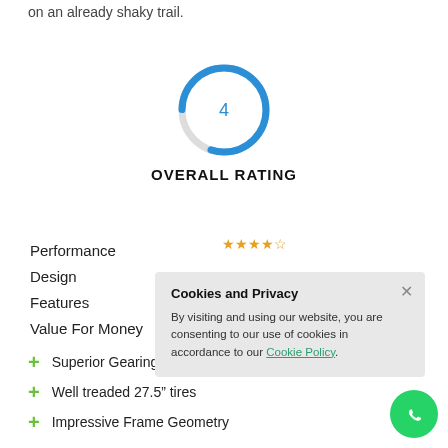on an already shaky trail.
[Figure (other): Circular gauge/dial showing overall rating of 4 out of 5 in blue]
OVERALL RATING
Performance
Design
Features
Value For Money
[Figure (other): Cookies and Privacy popup overlay: By visiting and using our website, you are consenting to our use of cookies in accordance to our Cookie Policy.]
+ Superior Gearing Components
+ Well treaded 27.5" tires
+ Impressive Frame Geometry